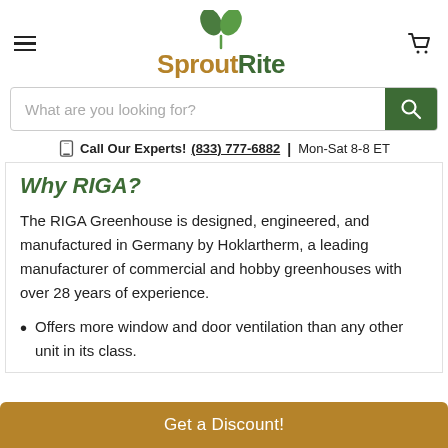SproutRite
What are you looking for?
Call Our Experts! (833) 777-6882 | Mon-Sat 8-8 ET
Why RIGA?
The RIGA Greenhouse is designed, engineered, and manufactured in Germany by Hoklartherm, a leading manufacturer of commercial and hobby greenhouses with over 28 years of experience.
Offers more window and door ventilation than any other unit in its class.
Get a Discount!